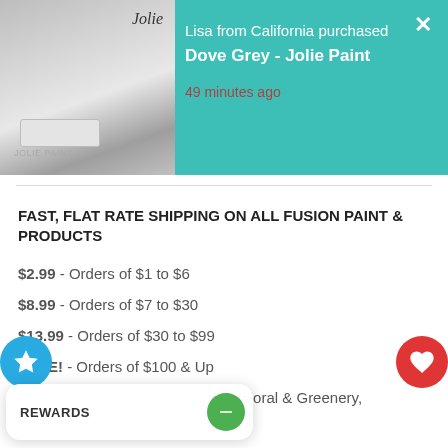[Figure (screenshot): E-commerce notification banner with teal background showing 'Lisa from California purchased Dove Grey - Jolie Paint, 49 minutes ago' with a product image thumbnail on the left and a close X button on the right.]
FAST, FLAT RATE SHIPPING ON ALL FUSION PAINT & PRODUCTS
$2.99 - Orders of $1 to $6
$8.99 - Orders of $7 to $30
$13.99 - Orders of $30 to $99
FREE! - Orders of $100 & Up
Also available: Design Transfers, Floral & Greenery, App...
[Figure (other): Rewards popup widget at the bottom left with REWARDS label and a green circular button with a minus icon.]